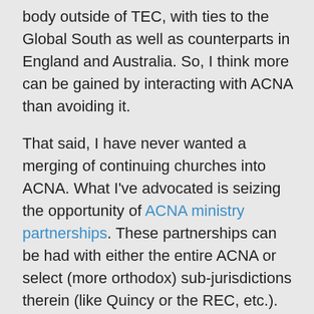body outside of TEC, with ties to the Global South as well as counterparts in England and Australia. So, I think more can be gained by interacting with ACNA than avoiding it.
That said, I have never wanted a merging of continuing churches into ACNA. What I've advocated is seizing the opportunity of ACNA ministry partnerships. These partnerships can be had with either the entire ACNA or select (more orthodox) sub-jurisdictions therein (like Quincy or the REC, etc.). FACA offers a possibility, and currently you can find APA, DHC, and ACA congregations on the ACNA's church locator